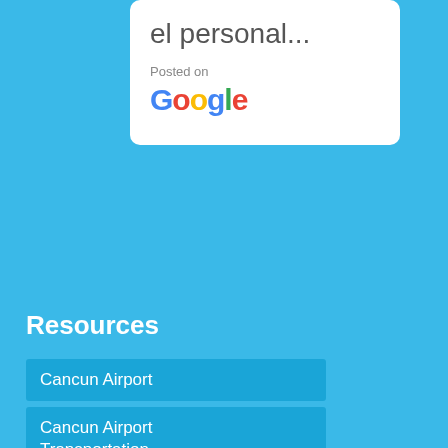el personal...
Posted on
[Figure (logo): Google logo in multicolor text]
Resources
Cancun Airport
Cancun Airport Transportation
Blog
Cancun Flights
Contact Us
Airports Around the World
Cancun Airport to Cancun